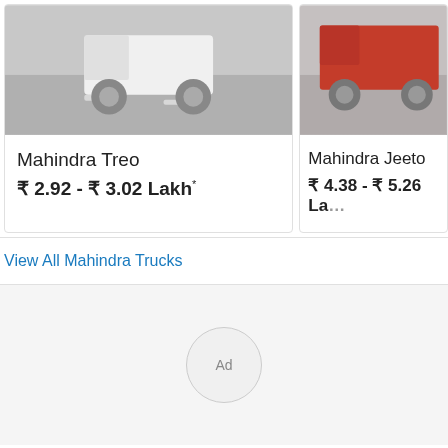[Figure (photo): Photo of Mahindra Treo three-wheeler on road, cropped top portion showing vehicle in motion on road]
Mahindra Treo
₹ 2.92 - ₹ 3.02 Lakh*
[Figure (photo): Photo of Mahindra Jeeto vehicle on road, cropped top portion, red truck visible]
Mahindra Jeeto
₹ 4.38 - ₹ 5.26 La...
View All Mahindra Trucks
[Figure (other): Ad placeholder circle with text 'Ad']
Further Research
0
Get On Road Price